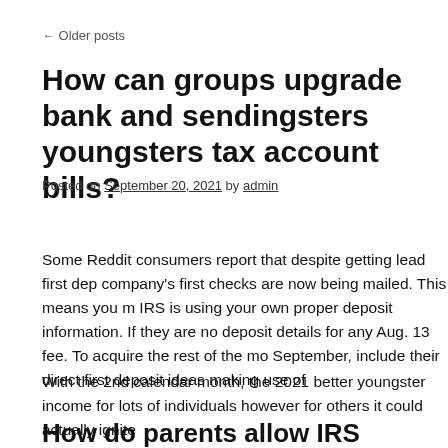← Older posts
How can groups upgrade bank and sending youngsters tax account bills?
Posted on September 20, 2021 by admin
Some Reddit consumers report that despite getting lead first dep company's first checks are now being mailed. This means you m IRS is using your own proper deposit information. If they are no deposit details for any Aug. 13 fee. To acquire the rest of the mo September, include their direct first deposit ideas making use of
With the 2nd calendar month, the 2021 better youngster income for lots of individuals however for others it could actually ignite
How do parents allow IRS determine if the